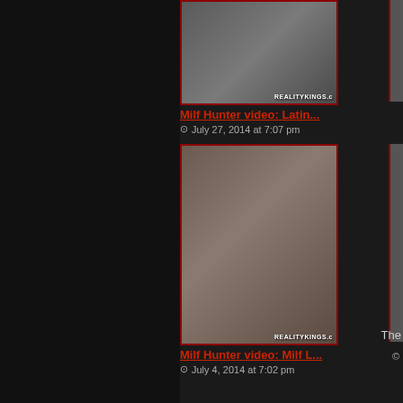[Figure (photo): Partially visible thumbnail image with REALITYKINGS watermark, top of page]
Milf Hunter video: Latin...
July 27, 2014 at 7:07 pm
[Figure (photo): Thumbnail image with REALITYKINGS watermark]
Milf Hunter video: Milf L...
July 4, 2014 at 7:02 pm
The
©